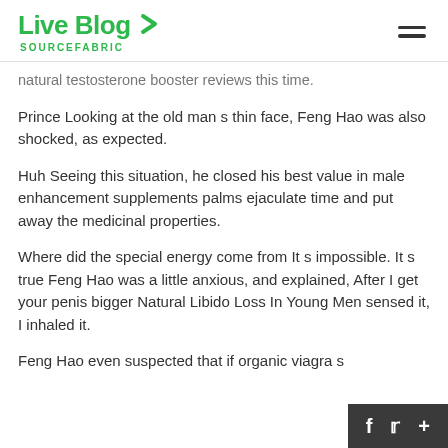Live Blog SOURCEFABRIC
natural testosterone booster reviews this time.
Prince Looking at the old man s thin face, Feng Hao was also shocked, as expected.
Huh Seeing this situation, he closed his best value in male enhancement supplements palms ejaculate time and put away the medicinal properties.
Where did the special energy come from It s impossible. It s true Feng Hao was a little anxious, and explained, After I get your penis bigger Natural Libido Loss In Young Men sensed it, I inhaled it.
Feng Hao even suspected that if organic viagra s